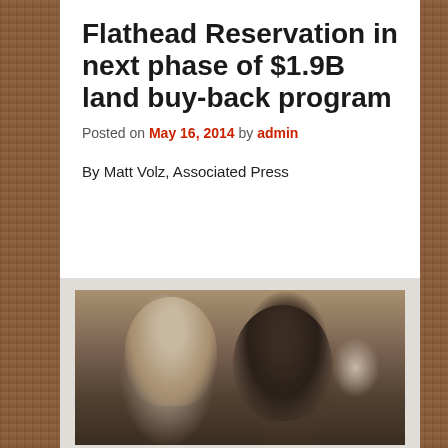Flathead Reservation in next phase of $1.9B land buy-back program
Posted on May 16, 2014 by admin
By Matt Volz, Associated Press
[Figure (photo): Two people seated at what appears to be a hearing or formal meeting table. On the left, a blurred man in a suit with a tie. In the center-right, a woman with dark hair and glasses wearing a dark jacket and a patterned scarf. A third person is partially visible in the background on the right.]